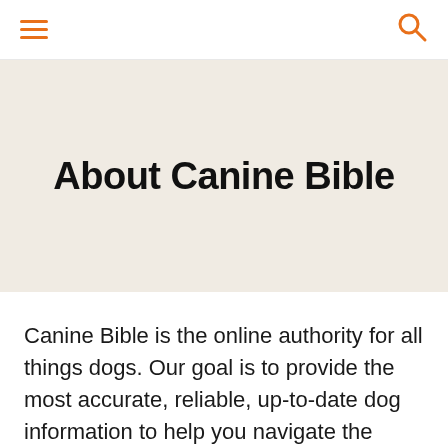≡  🔍
About Canine Bible
Canine Bible is the online authority for all things dogs. Our goal is to provide the most accurate, reliable, up-to-date dog information to help you navigate the everyday ups and downs of dog parenting. As dog moms and dads, you deserve access to the tools, tips, and insights you need to